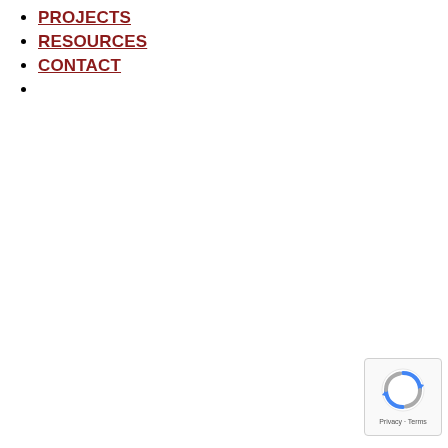PROJECTS
RESOURCES
CONTACT
[Figure (logo): reCAPTCHA badge with spinning arrows icon and Privacy - Terms text]